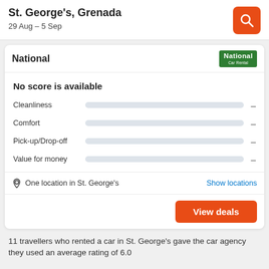St. George's, Grenada
29 Aug – 5 Sep
National
No score is available
Cleanliness  –
Comfort  –
Pick-up/Drop-off  –
Value for money  –
One location in St. George's
Show locations
View deals
11 travellers who rented a car in St. George's gave the car agency they used an average rating of 6.0